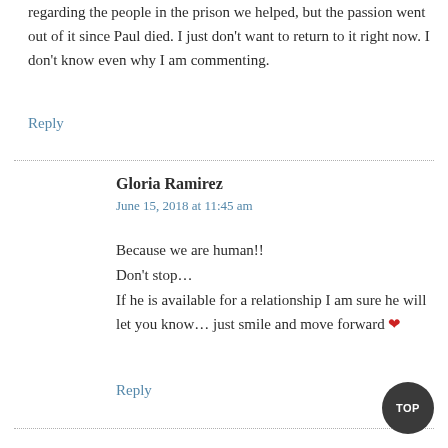regarding the people in the prison we helped, but the passion went out of it since Paul died. I just don't want to return to it right now. I don't know even why I am commenting.
Reply
Gloria Ramirez
June 15, 2018 at 11:45 am
Because we are human!!
Don't stop…
If he is available for a relationship I am sure he will let you know… just smile and move forward ❤
Reply